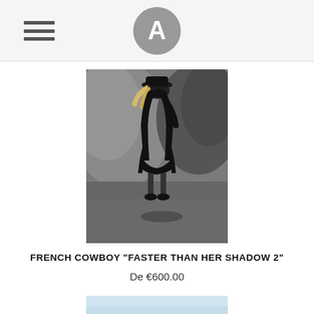[Figure (logo): Circular gray logo with white letter A in the center]
[Figure (photo): Black and white fashion photograph of a person in a black hat and black clothing walking on a dark ground surface, long blonde hair blowing]
FRENCH COWBOY "FASTER THAN HER SHADOW 2"
De €600.00